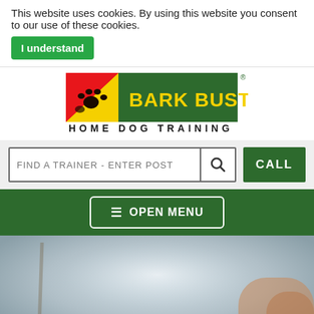This website uses cookies. By using this website you consent to our use of these cookies. I understand
[Figure (logo): Bark Busters Home Dog Training logo — red/yellow/green square with paw prints and a dog silhouette, green rectangle with yellow text BARK BUSTERS, black text HOME DOG TRAINING below]
FIND A TRAINER - ENTER POST
CALL
≡ OPEN MENU
Find your local